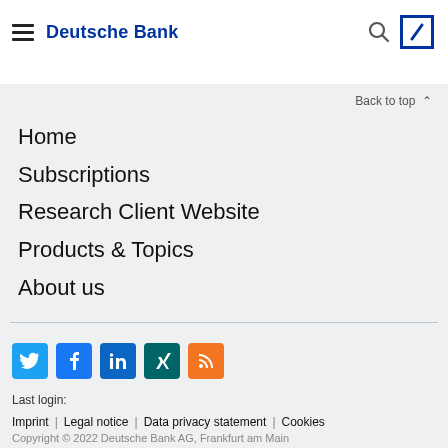Deutsche Bank
Back to top
Home
Subscriptions
Research Client Website
Products & Topics
About us
[Figure (logo): Social media icons: Twitter, Facebook, LinkedIn, Xing, RSS]
Last login:
Imprint | Legal notice | Data privacy statement | Cookies
Copyright © 2022 Deutsche Bank AG, Frankfurt am Main